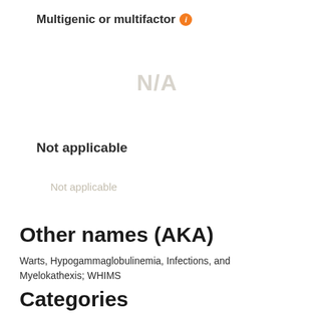Multigenic or multifactor
N/A
Not applicable
Not applicable
Other names (AKA)
Warts, Hypogammaglobulinemia, Infections, and Myelokathexis; WHIMS
Categories